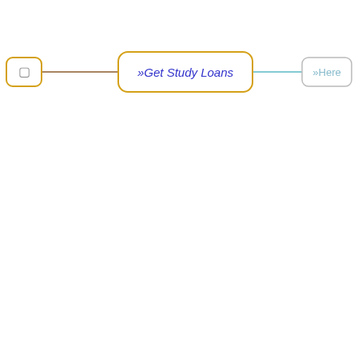[Figure (flowchart): A flowchart with three nodes connected by a horizontal line. Left node: small rounded square box with a yellow-orange border containing a checkbox/cursor symbol. Middle node: large rounded rectangle with a yellow-orange border containing the text '»Get Study Loans' in blue. Right node: rounded rectangle with a light gray border containing the text '»Here' in light blue/gray. The connector line transitions from brown/orange on the left side to teal/cyan on the right side.]